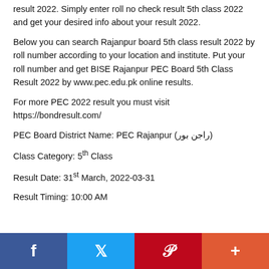result 2022. Simply enter roll no check result 5th class 2022 and get your desired info about your result 2022.
Below you can search Rajanpur board 5th class result 2022 by roll number according to your location and institute. Put your roll number and get BISE Rajanpur PEC Board 5th Class Result 2022 by www.pec.edu.pk online results.
For more PEC 2022 result you must visit https://bondresult.com/
PEC Board District Name: PEC Rajanpur (راجن بور)
Class Category: 5th Class
Result Date: 31st March, 2022-03-31
Result Timing: 10:00 AM
Facebook Twitter Pinterest More